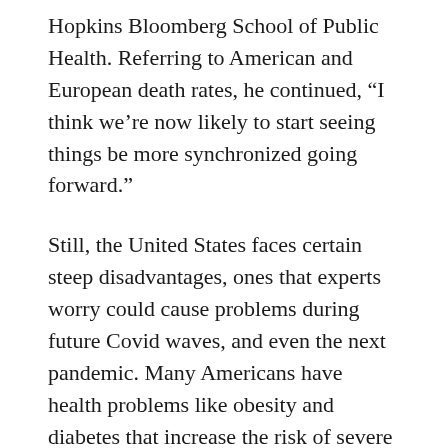Hopkins Bloomberg School of Public Health. Referring to American and European death rates, he continued, “I think we’re now likely to start seeing things be more synchronized going forward.”
Still, the United States faces certain steep disadvantages, ones that experts worry could cause problems during future Covid waves, and even the next pandemic. Many Americans have health problems like obesity and diabetes that increase the risk of severe Covid.